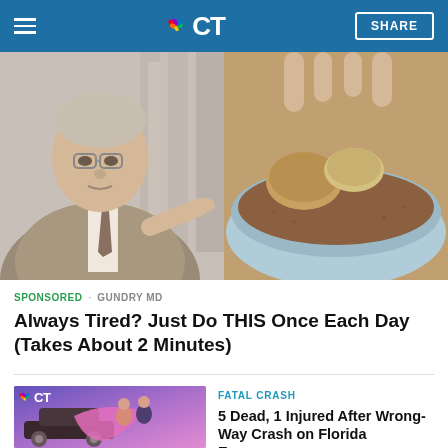NBC CT
[Figure (photo): Sponsored ad image: elderly doctor in suit pointing at food items in a dish, split image with a close-up of food on right]
SPONSORED · GUNDRY MD
Always Tired? Just Do THIS Once Each Day (Takes About 2 Minutes)
[Figure (photo): NBC CT news thumbnail showing people near a car wreck, with NBC CT logo badge]
FATAL CRASH
5 Dead, 1 Injured After Wrong-Way Crash on Florida Expressway